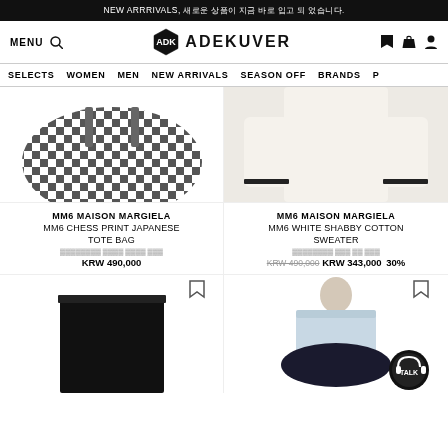NEW ARRIVALS, 신상품 도착을 알리는 특별한 소식을 확인 해 보세요.
[Figure (screenshot): ADEKUVER logo with hexagon icon]
MENU  SELECTS  WOMEN  MEN  NEW ARRIVALS  SEASON OFF  BRANDS
MM6 MAISON MARGIELA
MM6 CHESS PRINT JAPANESE TOTE BAG
KRW 490,000
MM6 MAISON MARGIELA
MM6 WHITE SHABBY COTTON SWEATER
KRW 490,000  KRW 343,000  30%
[Figure (photo): Black and white checkerboard tote bag cropped view]
[Figure (photo): White cotton sweater with black trim on sleeves]
[Figure (photo): Black pencil skirt bottom portion]
[Figure (photo): Light blue strapless top with dark hem on model]